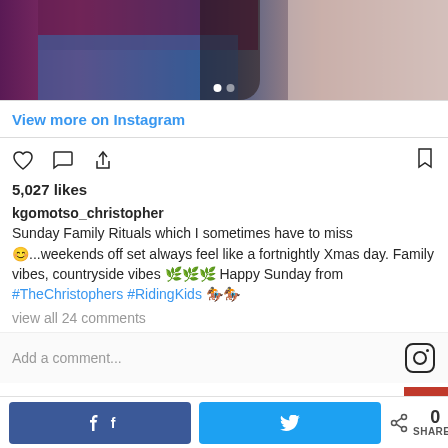[Figure (photo): Partial photo of people, showing clothing — purple/maroon top, denim jeans, and a light pink jacket. Carousel navigation dots visible at bottom.]
View more on Instagram
[Figure (infographic): Instagram action icons: heart (like), speech bubble (comment), share arrow, and bookmark icon]
5,027 likes
kgomotso_christopher Sunday Family Rituals which I sometimes have to miss 😊...weekends off set always feel like a fortnightly Xmas day. Family vibes, countryside vibes 🌿🌿🌿 Happy Sunday from #TheChristophers #RidingKids 🏇🏇
view all 24 comments
Add a comment...
0 SHARES